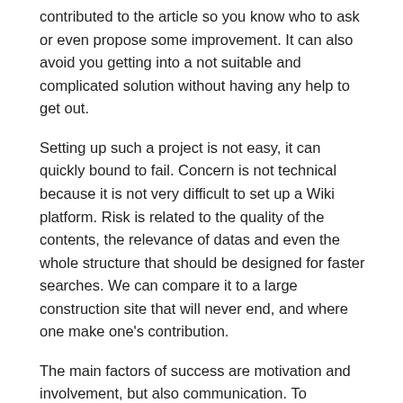contributed to the article so you know who to ask or even propose some improvement. It can also avoid you getting into a not suitable and complicated solution without having any help to get out.
Setting up such a project is not easy, it can quickly bound to fail. Concern is not technical because it is not very difficult to set up a Wiki platform. Risk is related to the quality of the contents, the relevance of datas and even the whole structure that should be designed for faster searches. We can compare it to a large construction site that will never end, and where one make one's contribution.
The main factors of success are motivation and involvement, but also communication. To communicate is essential, as always. Without communication, the platform will probably be gradually abandoned. People will stop to publish new articles, or even worse, stop to consult it.
Fragile and not very convincing at first, mainly due to its limited number of articles, the platform can become essential and...